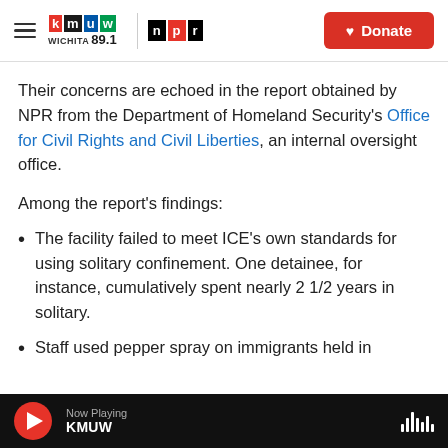KMUW WICHITA 89.1 / NPR — Donate
Their concerns are echoed in the report obtained by NPR from the Department of Homeland Security's Office for Civil Rights and Civil Liberties, an internal oversight office.
Among the report's findings:
The facility failed to meet ICE's own standards for using solitary confinement. One detainee, for instance, cumulatively spent nearly 2 1/2 years in solitary.
Staff used pepper spray on immigrants held in
Now Playing KMUW